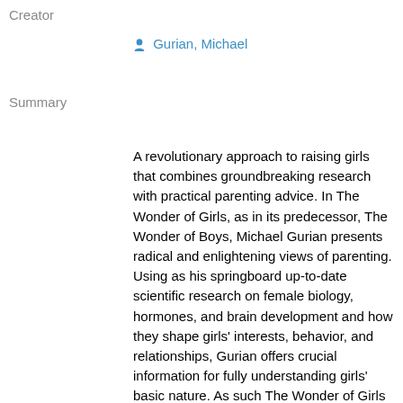Creator
Gurian, Michael
Summary
A revolutionary approach to raising girls that combines groundbreaking research with practical parenting advice. In The Wonder of Girls, as in its predecessor, The Wonder of Boys, Michael Gurian presents radical and enlightening views of parenting. Using as his springboard up-to-date scientific research on female biology, hormones, and brain development and how they shape girls' interests, behavior, and relationships, Gurian offers crucial information for fully understanding girls' basic nature. As such The Wonder of Girls is essential--and riveting--reading for anyone involved in raising daughters. In a culture caught between traditionalist and feminism, Gurian, himself the father of